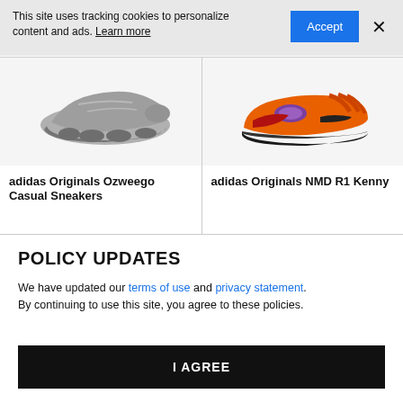This site uses tracking cookies to personalize content and ads. Learn more
[Figure (photo): Grey adidas Originals Ozweego Casual Sneaker product image on light grey background]
[Figure (photo): Orange adidas Originals NMD R1 Kenny sneaker product image on light grey background]
adidas Originals Ozweego Casual Sneakers
adidas Originals NMD R1 Kenny
POLICY UPDATES
We have updated our terms of use and privacy statement. By continuing to use this site, you agree to these policies.
I AGREE